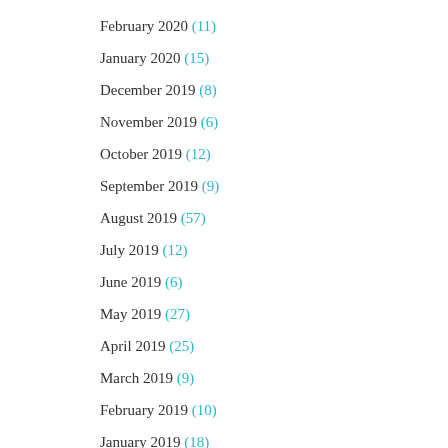February 2020 (11)
January 2020 (15)
December 2019 (8)
November 2019 (6)
October 2019 (12)
September 2019 (9)
August 2019 (57)
July 2019 (12)
June 2019 (6)
May 2019 (27)
April 2019 (25)
March 2019 (9)
February 2019 (10)
January 2019 (18)